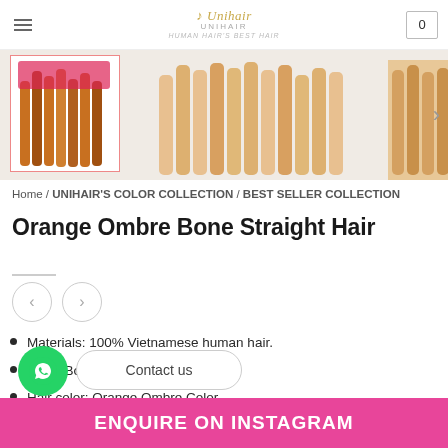Unihair — navigation header with logo and cart
[Figure (photo): Product images showing orange ombre bone straight hair extensions with fringe/tassel ends, displayed against light background]
Home / UNIHAIR'S COLOR COLLECTION / BEST SELLER COLLECTION
Orange Ombre Bone Straight Hair
Materials: 100% Vietnamese human hair.
Style: Bone Straight Hair
Hair color: Orange Ombre Color
Textile: Soft, smooth and silky
Contact us
ENQUIRE ON INSTAGRAM